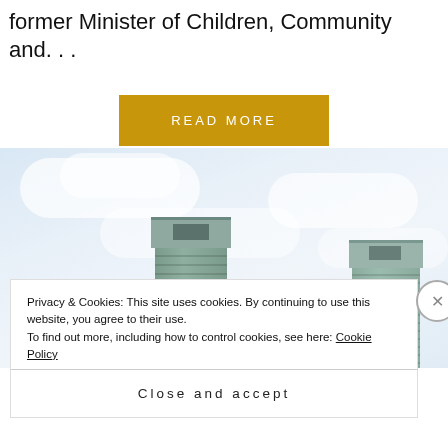former Minister of Children, Community and...
READ MORE
[Figure (photo): Upward view of two modern office tower buildings with horizontal banded facade, against a pale cloudy sky]
Privacy & Cookies: This site uses cookies. By continuing to use this website, you agree to their use. To find out more, including how to control cookies, see here: Cookie Policy
Close and accept